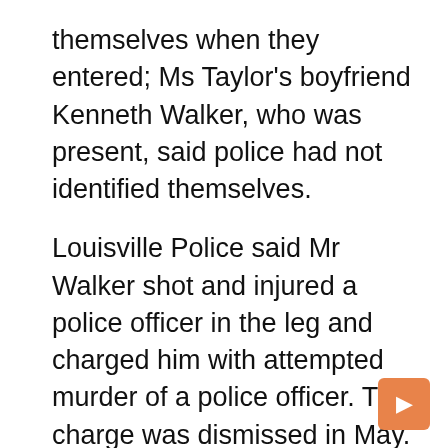themselves when they entered; Ms Taylor's boyfriend Kenneth Walker, who was present, said police had not identified themselves.
Louisville Police said Mr Walker shot and injured a police officer in the leg and charged him with attempted murder of a police officer. This charge was dismissed in May.
The idea of â€¹â€¹putting Ms. Taylor on the cover of O was the brainchild of Deirdre Read, the magazine’s visual search editor, O editor Lucy Kaylin said in an email.
â€œI brought the idea to Oprah, who immediately said ‘YES’,â€ Ms. Kaylin said.